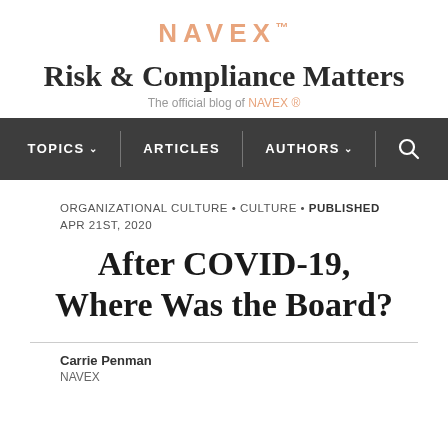NAVEX
Risk & Compliance Matters
The official blog of NAVEX ®
TOPICS  ARTICLES  AUTHORS
ORGANIZATIONAL CULTURE • CULTURE • Published Apr 21st, 2020
After COVID-19, Where Was the Board?
Carrie Penman
NAVEX